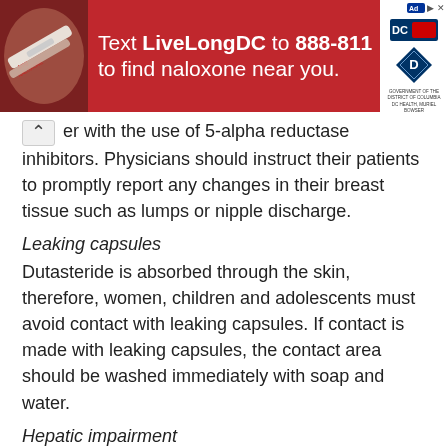[Figure (infographic): Red advertisement banner reading 'Text LiveLongDC to 888-811 to find naloxone near you.' with DC government logos on right side and medical imagery on left.]
er with the use of 5-alpha reductase inhibitors. Physicians should instruct their patients to promptly report any changes in their breast tissue such as lumps or nipple discharge.
Leaking capsules
Dutasteride is absorbed through the skin, therefore, women, children and adolescents must avoid contact with leaking capsules. If contact is made with leaking capsules, the contact area should be washed immediately with soap and water.
Hepatic impairment
Dutasteride was not studied in patients with liver disease. 3 and section 5.2).